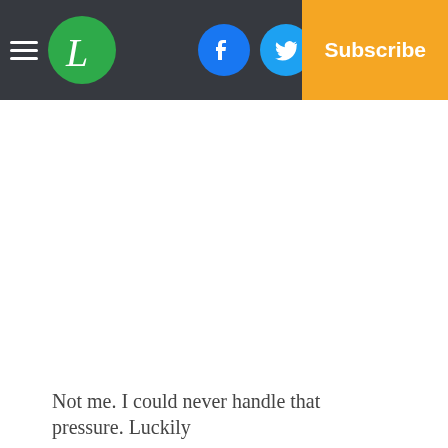L [logo] | Facebook | Twitter | Email | Log In | Subscribe
Not me. I could never handle that pressure. Luckily